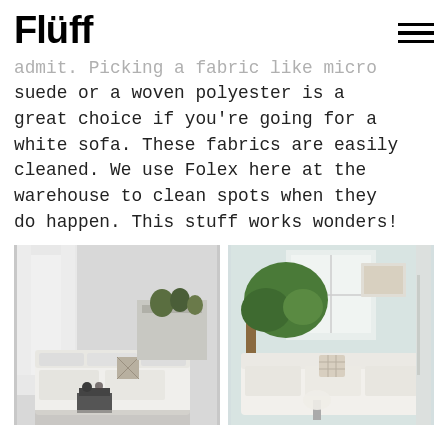Flüff
admit. Picking a fabric like micro suede or a woven polyester is a great choice if you're going for a white sofa. These fabrics are easily cleaned. We use Folex here at the warehouse to clean spots when they do happen. This stuff works wonders!
[Figure (photo): Two side-by-side photos of white living rooms with sofas. Left: bright white room with plants and bookshelf, white sofa with patterned pillows. Right: light blue-green room with large plant, white sofa with cushions.]